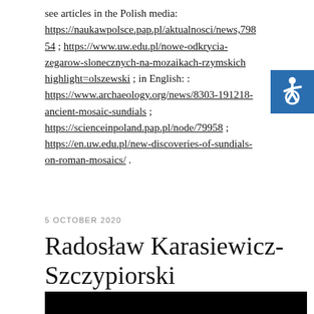see articles in the Polish media: https://naukawpolsce.pap.pl/aktualnosci/news,79854 ; https://www.uw.edu.pl/nowe-odkrycia-zegarow-slonecznych-na-mozaikach-rzymskich-highlight=olszewski ; in English: : https://www.archaeology.org/news/8303-191218-ancient-mosaic-sundials ; https://scienceinpoland.pap.pl/node/79958 ; https://en.uw.edu.pl/new-discoveries-of-sundials-on-roman-mosaics/ .
[Figure (logo): Accessibility icon — white wheelchair symbol on blue square background]
5 OCTOBER 2020
Radosław Karasiewicz-Szczypiorski
[Figure (photo): Black rectangle at bottom of page, likely a cropped photograph]